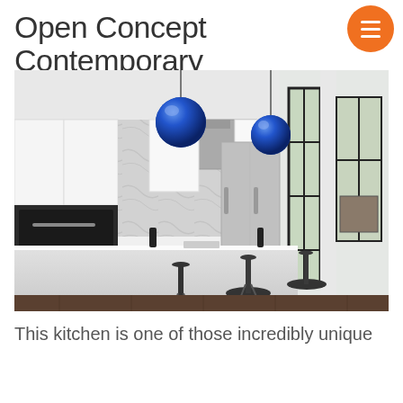Open Concept Contemporary
[Figure (photo): Modern open concept contemporary kitchen with white glossy cabinetry, large white island with dark bar stools, stainless steel appliances, marble backsplash, and two blue metallic pendant globe lights hanging from ceiling. Large floor-to-ceiling windows with black frames visible on right side.]
This kitchen is one of those incredibly unique